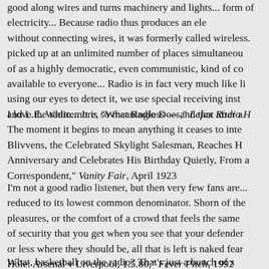good along wires and turns machinery and lights... Radio produces an electricity... Because radio thus produces an electricity without connecting wires, it was formerly called wireless... picked up at an unlimited number of places simultaneously... of as a highly democratic, even communistic, kind of communication available to everyone... Radio is in fact very much like light... using our eyes to detect it, we use special receiving instruments... and L.E. Whittemore, "What Radio Does," Lefax Radio H...
I love the radio... It is so meaningless — and that after a... The moment it begins to mean anything it ceases to interest... Blivvens, the Celebrated Skylight Salesman, Reaches His... Anniversary and Celebrates His Birthday Quietly, From a... Correspondent," Vanity Fair, April 1923
I'm not a good radio listener, but then very few fans are... reduced to its lowest common denominator. Shorn of the... pleasures, or the comfort of a crowd that feels the same... of security that you get when you see that your defenders... or less where they should be, all that is left is naked fear... Hole: Arsenal v Liverpool, 1.5.80," Fever Pitch, 1992
What, basketball on the radio? That's just a bunch of sounds...